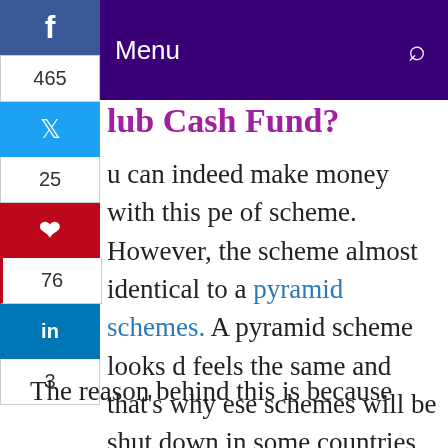Menu
lub Cash Fund?
u can indeed make money with this pe of scheme. However, the scheme almost identical to a pyramid schemes. A pyramid scheme looks d feels the same and that’s why ese schemes will be shut down in some countries including my own country New Zealand.
The reason behind this is because